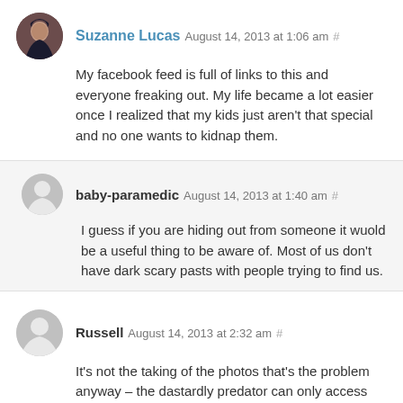Suzanne Lucas August 14, 2013 at 1:06 am #
My facebook feed is full of links to this and everyone freaking out. My life became a lot easier once I realized that my kids just aren't that special and no one wants to kidnap them.
baby-paramedic August 14, 2013 at 1:40 am #
I guess if you are hiding out from someone it wuold be a useful thing to be aware of. Most of us don't have dark scary pasts with people trying to find us.
Russell August 14, 2013 at 2:32 am #
It's not the taking of the photos that's the problem anyway – the dastardly predator can only access the GPS